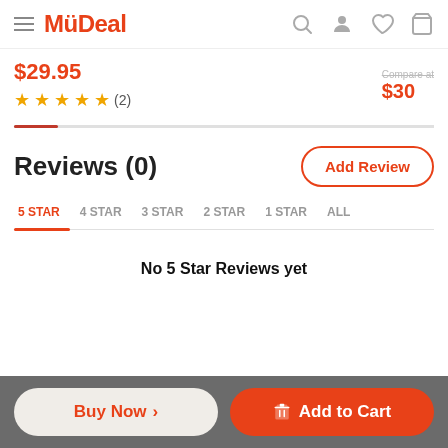MyDeal
$29.95 ★★★★★ (2)  $30
Reviews (0)
5 STAR  4 STAR  3 STAR  2 STAR  1 STAR  ALL
No 5 Star Reviews yet
Buy Now >   Add to Cart